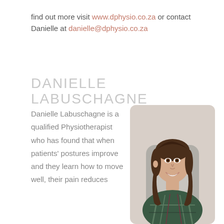find out more visit www.dphysio.co.za or contact Danielle at danielle@dphysio.co.za
DANIELLE LABUSCHAGNE
Danielle Labuschagne is a qualified Physiotherapist who has found that when patients' postures improve and they learn how to move well, their pain reduces
[Figure (photo): Portrait photo of Danielle Labuschagne, a woman with long brown hair sitting in a grey chair, smiling, wearing a plaid shirt]